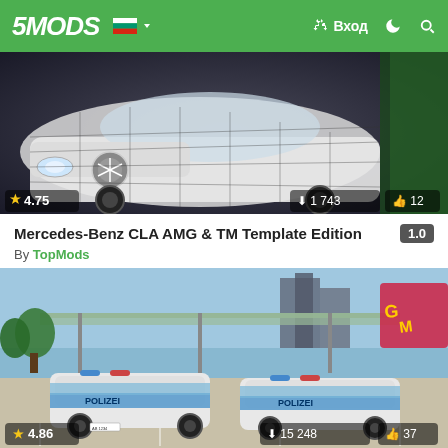5MODS | Вход
[Figure (screenshot): Mercedes-Benz CLA AMG white car with wireframe overlay, rating 4.75, downloads 1 743, likes 12]
Mercedes-Benz CLA AMG & TM Template Edition
By TopMods
[Figure (screenshot): Two Audi police cars (Polizei) parked in GTA V scene, rating 4.86, downloads 15 248, likes 37]